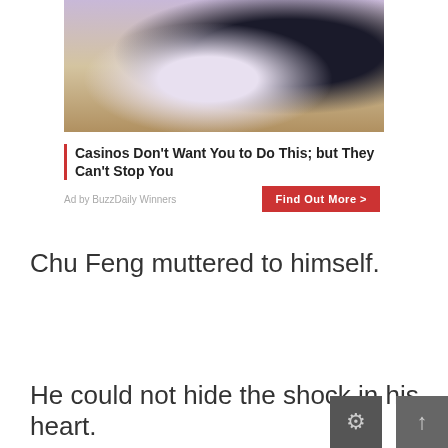[Figure (photo): Advertisement image showing a person in white shirt and dark jacket in what appears to be a casino or hotel setting]
Casinos Don't Want You to Do This; but They Can't Stop You
Ad by BuzzDaily Winners
Chu Feng muttered to himself.
He could not hide the shock in his heart.